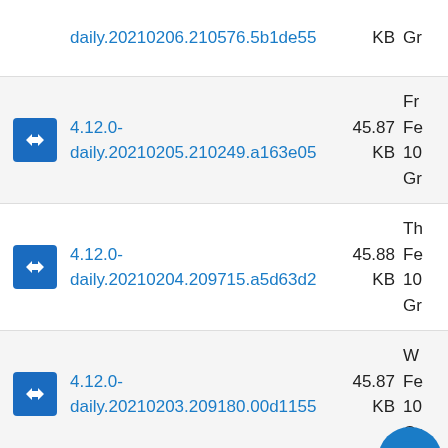| icon | name | size | date |
| --- | --- | --- | --- |
| [icon] | daily.20210206.210576.5b1de55 | KB | Gr |
| [icon] | 4.12.0-
daily.20210205.210249.a163e05 | 45.87 KB | Fr Fe 10 Gr |
| [icon] | 4.12.0-
daily.20210204.209715.a5d63d2 | 45.88 KB | Th Fe 10 Gr |
| [icon] | 4.12.0-
daily.20210203.209180.00d1155 | 45.87 KB | W Fe 10 Gr |
| [icon] | 4.12.0- | 45.88 | Fe |